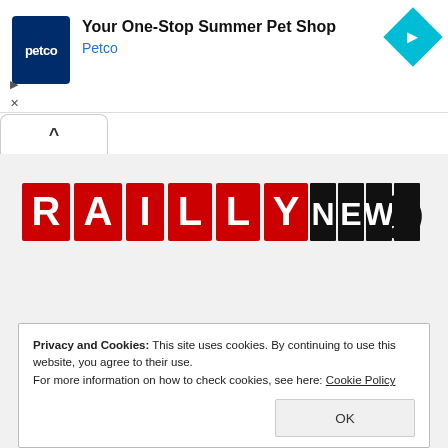[Figure (screenshot): Petco advertisement banner with logo, title 'Your One-Stop Summer Pet Shop', subtitle 'Petco', and a cyan diamond navigation icon]
Your One-Stop Summer Pet Shop
Petco
[Figure (logo): RaillyNews logo with red background for RAILLY and black background for NEWS, with a stylized train icon]
Privacy and Cookies: This site uses cookies. By continuing to use this website, you agree to their use.
For more information on how to check cookies, see here: Cookie Policy
OK